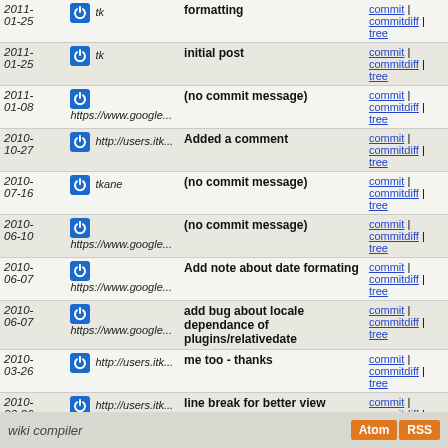| Date | Author | Message | Links |
| --- | --- | --- | --- |
| 2011-01-25 | tk | formatting | commit | commitdiff | tree |
| 2011-01-25 | tk | initial post | commit | commitdiff | tree |
| 2011-01-08 | https://www.google... | (no commit message) | commit | commitdiff | tree |
| 2010-10-27 | http://users.itk... | Added a comment | commit | commitdiff | tree |
| 2010-07-16 | tkane | (no commit message) | commit | commitdiff | tree |
| 2010-06-10 | https://www.google... | (no commit message) | commit | commitdiff | tree |
| 2010-06-07 | https://www.google... | Add note about date formating | commit | commitdiff | tree |
| 2010-06-07 | https://www.google... | add bug about locale dependance of plugins/relativedate | commit | commitdiff | tree |
| 2010-03-26 | http://users.itk... | me too - thanks | commit | commitdiff | tree |
| 2010-03-26 | http://users.itk... | line break for better view | commit | commitdiff | tree |
| 2010-03-26 | http://users.itk... | init page bugreport | commit | commitdiff | tree |
wiki compiler  Atom RSS